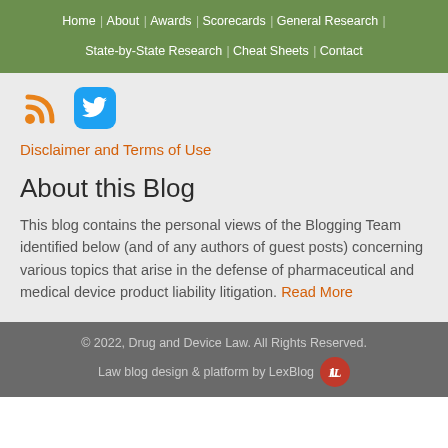Home | About | Awards | Scorecards | General Research | State-by-State Research | Cheat Sheets | Contact
[Figure (logo): RSS feed icon (orange) and Twitter bird icon (blue rounded square)]
Disclaimer and Terms of Use
About this Blog
This blog contains the personal views of the Blogging Team identified below (and of any authors of guest posts) concerning various topics that arise in the defense of pharmaceutical and medical device product liability litigation. Read More
© 2022, Drug and Device Law. All Rights Reserved. Law blog design & platform by LexBlog